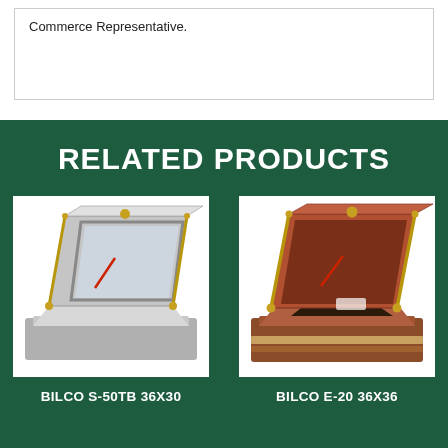Commerce Representative.
RELATED PRODUCTS
[Figure (photo): BILCO S-50TB 36X30 roof hatch product photo — silver/grey metal hatch open at an angle showing interior and brass hardware]
BILCO S-50TB 36X30
[Figure (photo): BILCO E-20 36X36 roof hatch product photo — brown/copper colored metal hatch open at an angle showing interior and brass hardware]
BILCO E-20 36X36